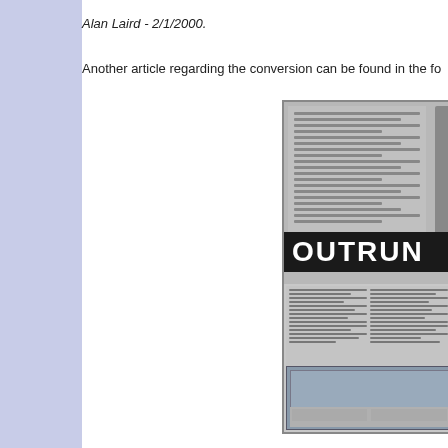Alan Laird - 2/1/2000.
Another article regarding the conversion can be found in the fo
[Figure (photo): Scanned magazine page showing an article about Outrun, with text columns and a large bold title 'OUTRUN' in white on black background, plus a screenshot of the game at the bottom.]